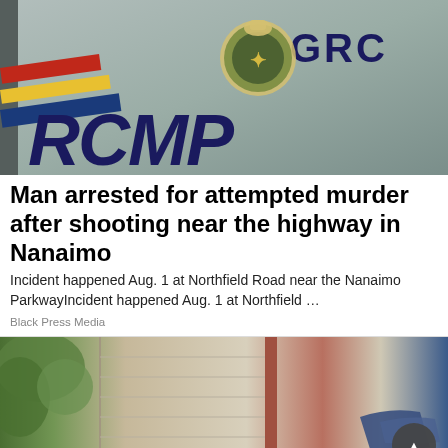[Figure (photo): Close-up photo of an RCMP police vehicle door showing the RCMP/GRC logo, crest, and colored stripes in red, yellow, and blue.]
Man arrested for attempted murder after shooting near the highway in Nanaimo
Incident happened Aug. 1 at Northfield Road near the Nanaimo ParkwayIncident happened Aug. 1 at Northfield …
Black Press Media
[Figure (photo): Photo of the side of an old weathered building with wooden siding, a red door frame, and a blue cloth resting on a ledge. Trees visible on the left.]
Looking for work or a new career?  August 25, 11AM - 3PM  Featuring 25+ Exhibitors and Growing!  CLICK HERE